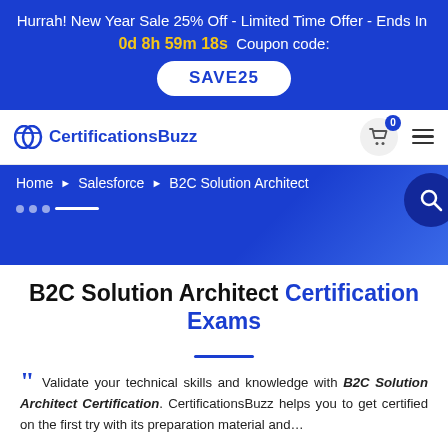Hurrah! New Year Sale 25% Off - Limited Time Offer - Ends In 0d 8h 59m 18s Coupon code: SAVE25
[Figure (logo): CertificationsBuzz logo with icon]
Home ▶ Salesforce ▶ B2C Solution Architect
B2C Solution Architect Certification Exams
Validate your technical skills and knowledge with B2C Solution Architect Certification. CertificationsBuzz helps you to get certified on the first try with its preparation material and...